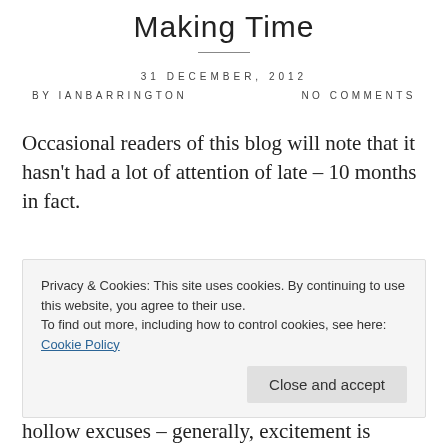Making Time
31 DECEMBER, 2012
BY IANBARRINGTON    NO COMMENTS
Occasional readers of this blog will note that it hasn't had a lot of attention of late – 10 months in fact.
Privacy & Cookies: This site uses cookies. By continuing to use this website, you agree to their use.
To find out more, including how to control cookies, see here: Cookie Policy
hollow excuses – generally, excitement is